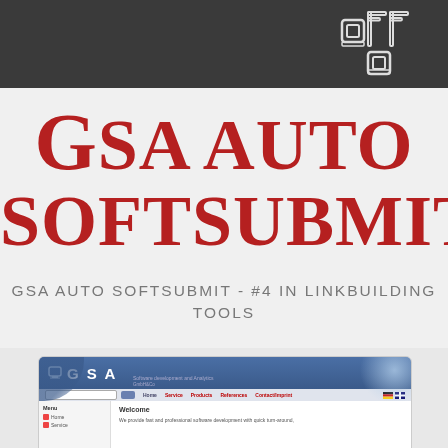[Figure (logo): GSA logo in white outline style on dark background, top right corner]
GSA AUTO SOFTSUBMIT
GSA AUTO SOFTSUBMIT - #4 IN LINKBUILDING TOOLS
[Figure (screenshot): Screenshot of the GSA software website showing their homepage with navigation, sidebar menu, and welcome text]